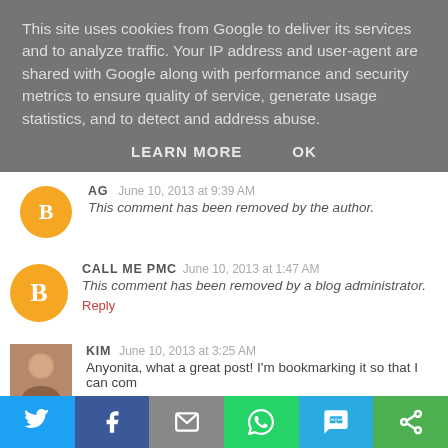This site uses cookies from Google to deliver its services and to analyze traffic. Your IP address and user-agent are shared with Google along with performance and security metrics to ensure quality of service, generate usage statistics, and to detect and address abuse.
LEARN MORE   OK
AG   June 10, 2013 at 9:39 AM
This comment has been removed by the author.
CALL ME PMC   June 10, 2013 at 1:47 AM
This comment has been removed by a blog administrator.
Reply
KIM   June 10, 2013 at 3:25 AM
Anyonita, what a great post! I'm bookmarking it so that I can com
[Figure (infographic): Social share bar with icons: Twitter (blue), Facebook (dark blue), Email (grey), WhatsApp (green), SMS (light blue), More (green)]